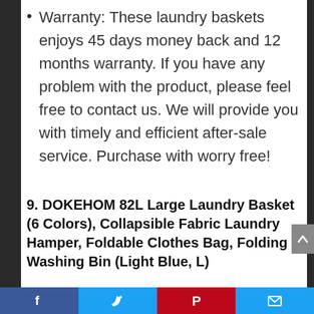Warranty: These laundry baskets enjoys 45 days money back and 12 months warranty. If you have any problem with the product, please feel free to contact us. We will provide you with timely and efficient after-sale service. Purchase with worry free!
9. DOKEHOM 82L Large Laundry Basket (6 Colors), Collapsible Fabric Laundry Hamper, Foldable Clothes Bag, Folding Washing Bin (Light Blue, L)
Share bar: Facebook, Twitter, Pinterest, Email